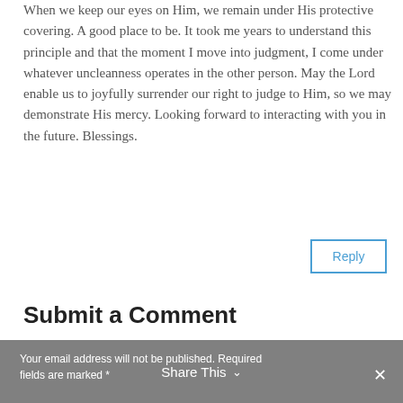When we keep our eyes on Him, we remain under His protective covering. A good place to be. It took me years to understand this principle and that the moment I move into judgment, I come under whatever uncleanness operates in the other person. May the Lord enable us to joyfully surrender our right to judge to Him, so we may demonstrate His mercy. Looking forward to interacting with you in the future. Blessings.
Reply
Submit a Comment
Your email address will not be published. Required fields are marked *
Share This ∨  ✕